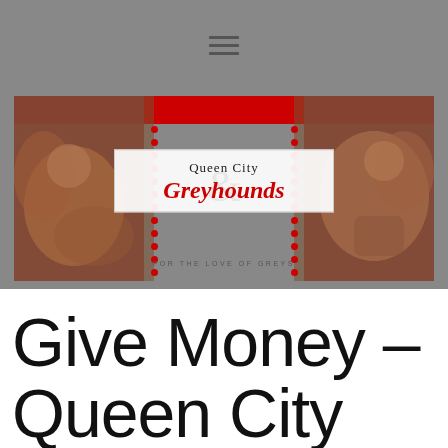navigation bar with hamburger menu icon
[Figure (logo): Queen City Greyhounds banner logo with red stripe at top, greyhound dog artwork on left and right sides, centered logo box reading 'Queen City Greyhounds - For the Love of Greys']
Give Money – Queen City Greyhounds